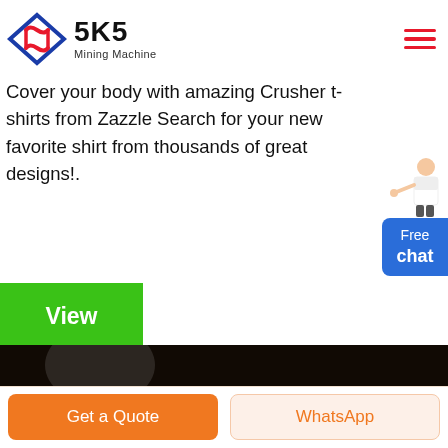SKS Mining Machine
Cover your body with amazing Crusher t-shirts from Zazzle Search for your new favorite shirt from thousands of great designs!.
[Figure (photo): A mining machine mechanical component — shows a white wheel/pulley and black coil spring mounted on heavy grey cast iron base, dark background.]
View
Free chat
Get a Quote
WhatsApp